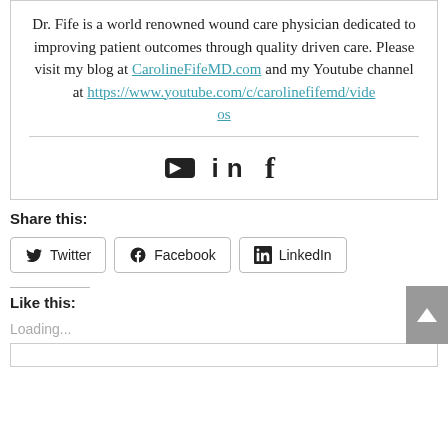Dr. Fife is a world renowned wound care physician dedicated to improving patient outcomes through quality driven care. Please visit my blog at CarolineFifeMD.com and my Youtube channel at https://www.youtube.com/c/carolinefifemd/videos
[Figure (other): Social media icons: YouTube, LinkedIn, Facebook]
Share this:
Twitter  Facebook  LinkedIn
Like this:
Loading...